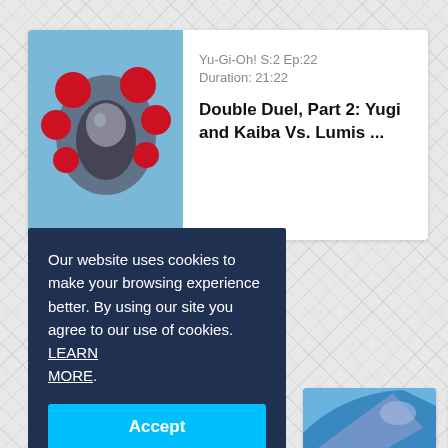[Figure (screenshot): Screenshot of a Yu-Gi-Oh streaming website showing episode info, cookie consent overlay, and anime card images.]
Yu-Gi-Oh! S:2 Ep:22
Duration: 21:22
Double Duel, Part 2: Yugi and Kaiba Vs. Lumis ...
Our website uses cookies to make your browsing experience better. By using our site you agree to our use of cookies. LEARN MORE.
Accept
Amplifier